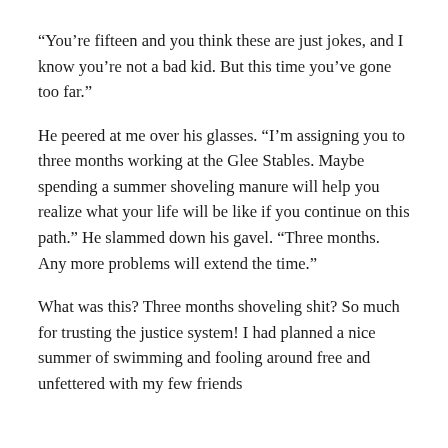“You’re fifteen and you think these are just jokes, and I know you’re not a bad kid. But this time you’ve gone too far.”
He peered at me over his glasses. “I’m assigning you to three months working at the Glee Stables. Maybe spending a summer shoveling manure will help you realize what your life will be like if you continue on this path.” He slammed down his gavel. “Three months. Any more problems will extend the time.”
What was this? Three months shoveling shit? So much for trusting the justice system! I had planned a nice summer of swimming and fooling around free and unfettered with my few friends